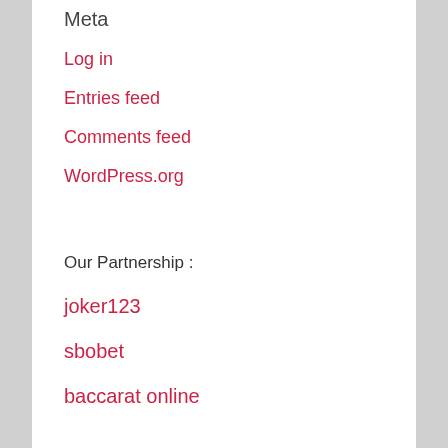Meta
Log in
Entries feed
Comments feed
WordPress.org
Our Partnership :
joker123
sbobet
baccarat online